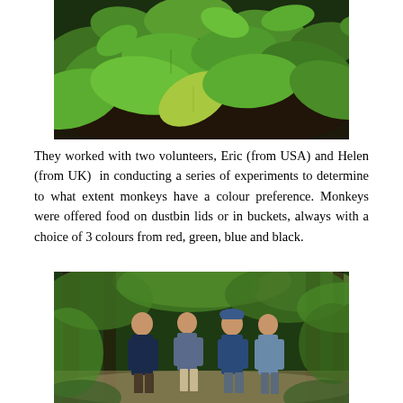[Figure (photo): Close-up photograph of green tropical foliage and leaves on a forest floor with dark soil and decaying wood visible]
They worked with two volunteers, Eric (from USA) and Helen (from UK) in conducting a series of experiments to determine to what extent monkeys have a colour preference. Monkeys were offered food on dustbin lids or in buckets, always with a choice of 3 colours from red, green, blue and black.
[Figure (photo): Four people (volunteers/researchers) standing together on a forest path surrounded by green trees and vegetation]